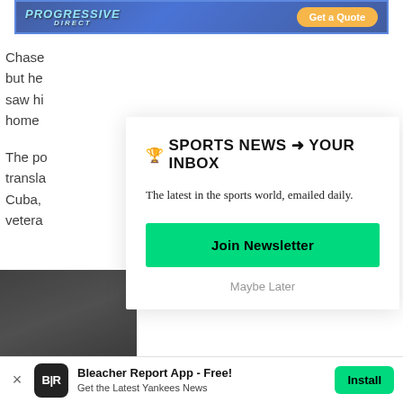[Figure (other): Progressive Direct insurance advertisement banner with blue gradient background, stylized italic logo text, and orange 'Get a Quote' button]
Chase
but he
saw hi
home
The po
transla
Cuba,
veteran
🏆 SPORTS NEWS ➜ YOUR INBOX
The latest in the sports world, emailed daily.
Join Newsletter
Maybe Later
[Figure (photo): Dark partial photo of a person, bottom left corner]
Bleacher Report App - Free!
Get the Latest Yankees News